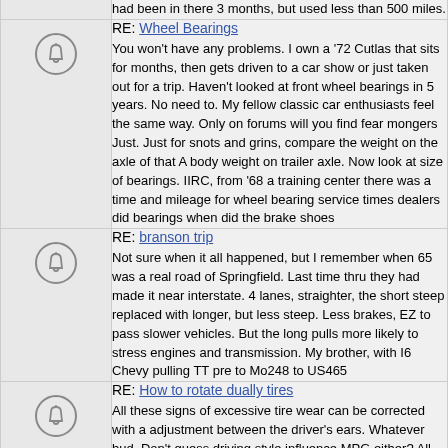had been in there 3 months, but used less than 500 miles.
RE: Wheel Bearings
You won't have any problems. I own a '72 Cutlas that sits for months, then gets driven to a car show or just taken out for a trip. Haven't looked at front wheel bearings in 5 years. No need to. My fellow classic car enthusiasts feel the same way. Only on forums will you find fear mongers Just. Just for snots and grins, compare the weight on the axle of that A body weight on trailer axle. Now look at size of bearings. IIRC, from '68 a training center there was a time and mileage for wheel bearing service times dealers did bearings when did the brake shoes
RE: branson trip
Not sure when it all happened, but I remember when 65 was a real road of Springfield. Last time thru they had made it near interstate. 4 lanes, straighter, the short steep replaced with longer, but less steep. Less brakes, EZ to pass slower vehicles. But the long pulls more likely to stress engines and transmission. My brother, with I6 Chevy pulling TT pre to Mo248 to US465
RE: How to rotate dually tires
All these signs of excessive tire wear can be corrected with a adjustment between the driver's ears. Whatever bud. Don't guess driving style influence MPG either? All the wear you describe is tire slip, control. Had a driver on truck for couple of years. 3 identical trucks doing s His did not need brakes as often, did not need tires as often, did not use much fuel. Bought a better truck for him, parked the real fuel hog took over his old truck. Fuel bill went up to match others. After a me started to change my driving style. After that the only vehicles that